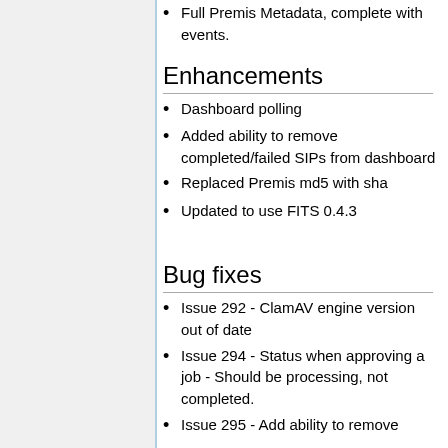Full Premis Metadata, complete with events.
Enhancements
Dashboard polling
Added ability to remove completed/failed SIPs from dashboard
Replaced Premis md5 with sha
Updated to use FITS 0.4.3
Bug fixes
Issue 292 - ClamAV engine version out of date
Issue 294 - Status when approving a job - Should be processing, not completed.
Issue 295 - Add ability to remove